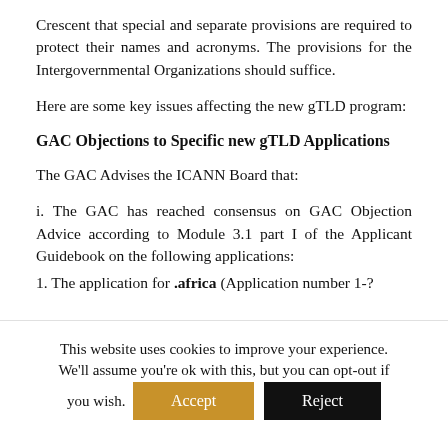Crescent that special and separate provisions are required to protect their names and acronyms. The provisions for the Intergovernmental Organizations should suffice.
Here are some key issues affecting the new gTLD program:
GAC Objections to Specific new gTLD Applications
The GAC Advises the ICANN Board that:
i. The GAC has reached consensus on GAC Objection Advice according to Module 3.1 part I of the Applicant Guidebook on the following applications:
1. The application for .africa (Application number 1-?
This website uses cookies to improve your experience. We'll assume you're ok with this, but you can opt-out if you wish.